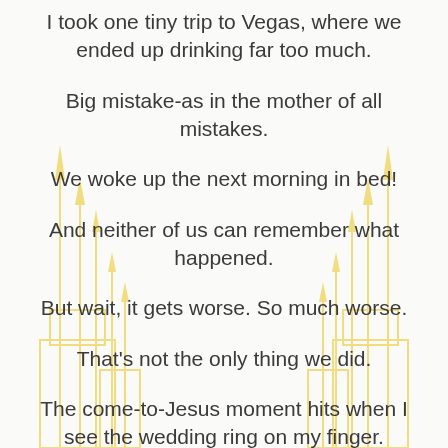I took one tiny trip to Vegas, where we ended up drinking far too much.
Big mistake-as in the mother of all mistakes.
We woke up the next morning in bed!
And neither of us can remember what happened.
But wait, it gets worse. So much worse.
That's not the only thing we did.
The come-to-Jesus moment hits when I see the wedding ring on my finger.
We got married!